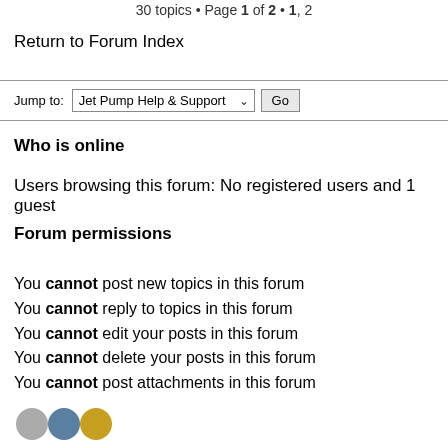30 topics • Page 1 of 2 • 1, 2
Return to Forum Index
Jump to: Jet Pump Help & Support  Go
Who is online
Users browsing this forum: No registered users and 1 guest
Forum permissions
You cannot post new topics in this forum
You cannot reply to topics in this forum
You cannot edit your posts in this forum
You cannot delete your posts in this forum
You cannot post attachments in this forum